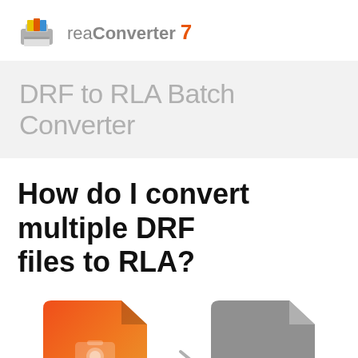[Figure (logo): reaConverter 7 logo with colorful printer icon and brand name]
DRF to RLA Batch Converter
How do I convert multiple DRF files to RLA?
[Figure (illustration): DRF file icon (orange/red gradient with camera symbol and DRF label) arrow pointing right to RLA file icon (gray document with RLA label)]